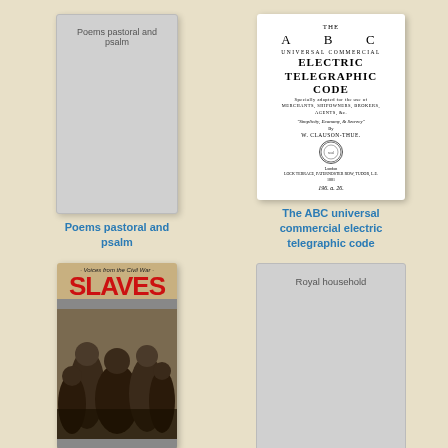[Figure (illustration): Book cover placeholder for 'Poems pastoral and psalm' - grey placeholder cover]
Poems pastoral and psalm
[Figure (illustration): Book cover image of 'The ABC universal commercial electric telegraphic code' by W. Clauson-Thue, showing title page style cover]
The ABC universal commercial electric telegraphic code
[Figure (illustration): Book cover of 'Voices from the Civil War: Slaves' showing historical photograph of enslaved people]
[Figure (illustration): Book cover placeholder for 'Royal household' - grey placeholder cover]